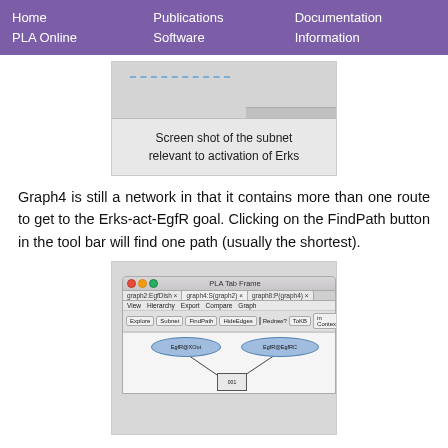Home  Publications  Documentation
PLA Online  Software  Information
[Figure (screenshot): Screen shot of the subnet relevant to activation of Erks - partial screenshot showing a graph/network view with dashed line]
Screen shot of the subnet relevant to activation of Erks
Graph4 is still a network in that it contains more than one route to get to the Erks-act-EgfR goal. Clicking on the FindPath button in the tool bar will find one path (usually the shortest).
[Figure (screenshot): Screenshot of PLA Tab Frame application window showing graph4:S(graph2) tab, with toolbar buttons (Explore, Subnet, FindPath, HideEdges, Redraw?, ToKB, in Context) and graph canvas showing nodes EgfR@XOut and EgfR@EgfRC connected to node 001]